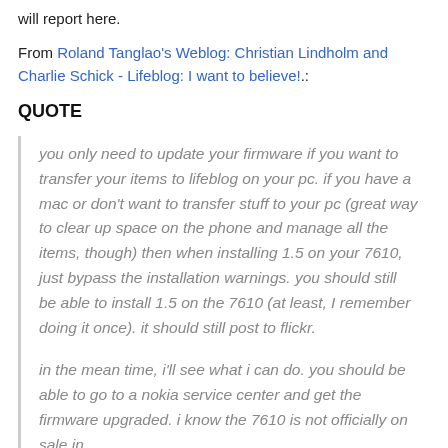will report here.
From Roland Tanglao's Weblog: Christian Lindholm and Charlie Schick - Lifeblog: I want to believe!.:
QUOTE
you only need to update your firmware if you want to transfer your items to lifeblog on your pc. if you have a mac or don't want to transfer stuff to your pc (great way to clear up space on the phone and manage all the items, though) then when installing 1.5 on your 7610, just bypass the installation warnings. you should still be able to install 1.5 on the 7610 (at least, I remember doing it once). it should still post to flickr.
in the mean time, i'll see what i can do. you should be able to go to a nokia service center and get the firmware upgraded. i know the 7610 is not officially on sale in